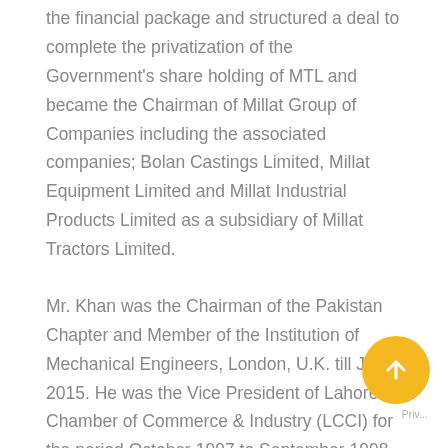the financial package and structured a deal to complete the privatization of the Government's share holding of MTL and became the Chairman of Millat Group of Companies including the associated companies; Bolan Castings Limited, Millat Equipment Limited and Millat Industrial Products Limited as a subsidiary of Millat Tractors Limited.
Mr. Khan was the Chairman of the Pakistan Chapter and Member of the Institution of Mechanical Engineers, London, U.K. till June 2015. He was the Vice President of Lahore Chamber of Commerce & Industry (LCCI) for the period October 1997 to September 1998 and Chairman of Pakistan Business Council during the 2013-14.